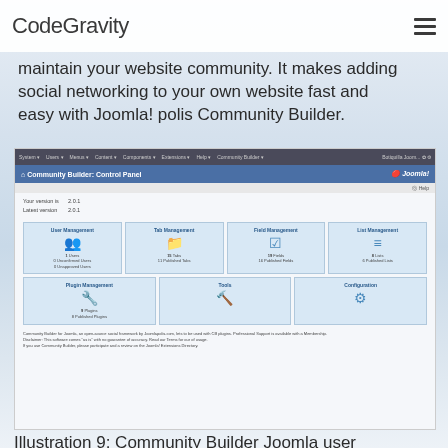CodeGravity
maintain your website community. It makes adding social networking to your own website fast and easy with Joomla! polis Community Builder.
[Figure (screenshot): Screenshot of Joomla Community Builder Control Panel showing the admin dashboard with navigation menus, version info (Your version is 2.0.1, Latest version 2.0.1), and dashboard tiles: User Management, Tab Management, Field Management, List Management, Plugin Management, Tools, and Configuration. Each tile shows an icon and statistics.]
Illustration 9: Community Builder Joomla user